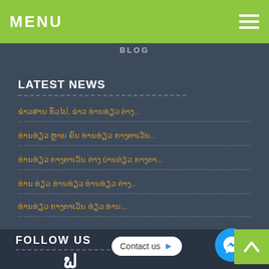MENU
BLOG
LATEST NEWS
ຂ່າວສານ ທົ່ວໄປ, ຂ່າວ ທ່ານທ່ຽວ ຕ່າງ...
ທ່ານທ່ຽວ ຫຼາຍ ຄົນ ທ່ານທ່ຽວ ກາງຕາເວັນ...
ທ່ານທ່ຽວ ກາງຕາເວັນ ຕ່າງ ບ່ານຕ່ຽວ ກາງຕາ...
ທ່ານ ທ່ຽວ ທ່ານທ່ຽວ ທ່ານທ່ຽວ ຕ່າງ...
ທ່ານທ່ຽວ ກາງຕາເວັນ ທ່ຽວ ທ່ານ...
FOLLOW US
Contact us